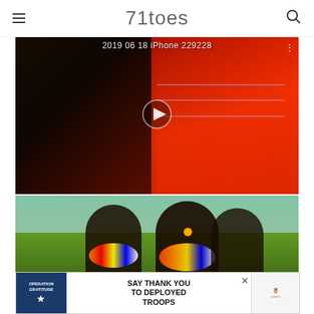71toes
[Figure (screenshot): Video thumbnail showing a person in a red/orange fabric with text '2019 06 18 iPhone 229228' and a play button overlay, dark background with people visible]
[Figure (photo): Photo of Maasai women with colorful beaded necklaces standing outdoors in a green landscape]
[Figure (screenshot): Advertisement banner: Operation Gratitude 'SAY THANK YOU TO DEPLOYED TROOPS' with star logo, owl mascot, and close button]